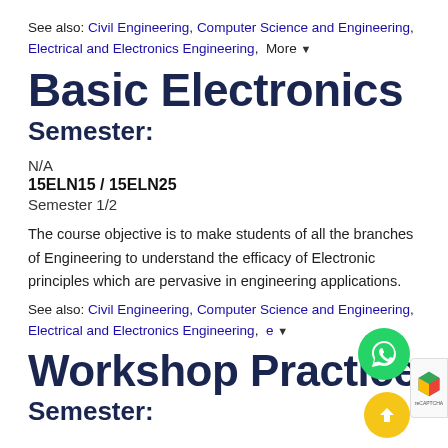See also: Civil Engineering, Computer Science and Engineering, Electrical and Electronics Engineering,  More ▼
Basic Electronics
Semester:
N/A
15ELN15 / 15ELN25
Semester 1/2
The course objective is to make students of all the branches of Engineering to understand the efficacy of Electronic principles which are pervasive in engineering applications.
See also: Civil Engineering, Computer Science and Engineering, Electrical and Electronics Engineering,  More ▼
Workshop Practice
Semester: